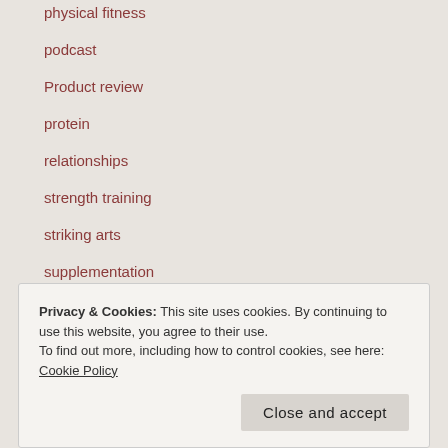physical fitness
podcast
Product review
protein
relationships
strength training
striking arts
supplementation
tampa
Tampa Bay
Privacy & Cookies: This site uses cookies. By continuing to use this website, you agree to their use.
To find out more, including how to control cookies, see here: Cookie Policy
Close and accept